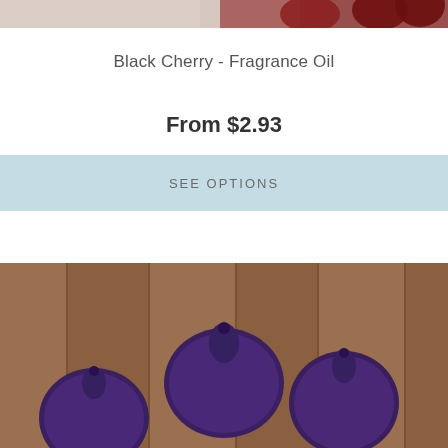[Figure (photo): Partial view of cherries at the top of the page, cropped]
Black Cherry - Fragrance Oil
From $2.93
SEE OPTIONS
[Figure (photo): Figs arranged on a wooden surface with green leaves, several whole figs and some cut open showing red interior]